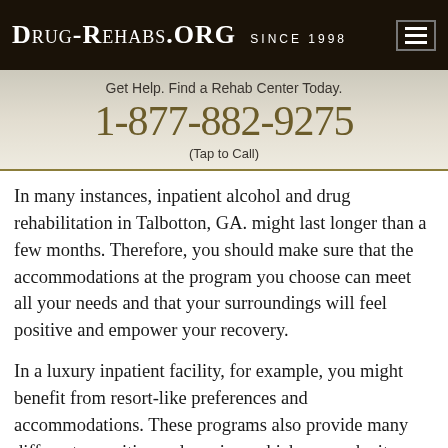Drug-Rehabs.org Since 1998
Get Help. Find a Rehab Center Today.
1-877-882-9275
(Tap to Call)
In many instances, inpatient alcohol and drug rehabilitation in Talbotton, GA. might last longer than a few months. Therefore, you should make sure that the accommodations at the program you choose can meet all your needs and that your surroundings will feel positive and empower your recovery.
In a luxury inpatient facility, for example, you might benefit from resort-like preferences and accommodations. These programs also provide many different amenities and services which can make it easier for you to overcome your alcohol and drug abuse and drug addiction.